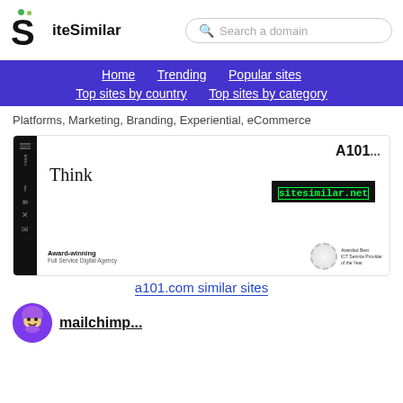SiteSimilar — Search a domain
Home  Trending  Popular sites  Top sites by country  Top sites by category
Platforms, Marketing, Branding, Experiential, eCommerce
[Figure (screenshot): Screenshot of a101.com website showing 'Think' heading, A101 logo, sitesimilar.net watermark, and Award-winning Full Service Digital Agency badge at the bottom.]
a101.com similar sites
[Figure (illustration): Purple cartoon mascot avatar (partial) for another similar site listing]